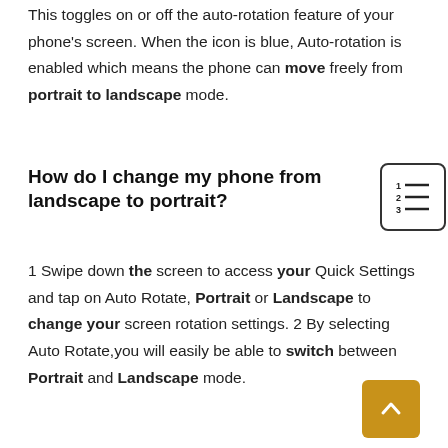This toggles on or off the auto-rotation feature of your phone's screen. When the icon is blue, Auto-rotation is enabled which means the phone can move freely from portrait to landscape mode.
How do I change my phone from landscape to portrait?
1 Swipe down the screen to access your Quick Settings and tap on Auto Rotate, Portrait or Landscape to change your screen rotation settings. 2 By selecting Auto Rotate,you will easily be able to switch between Portrait and Landscape mode.